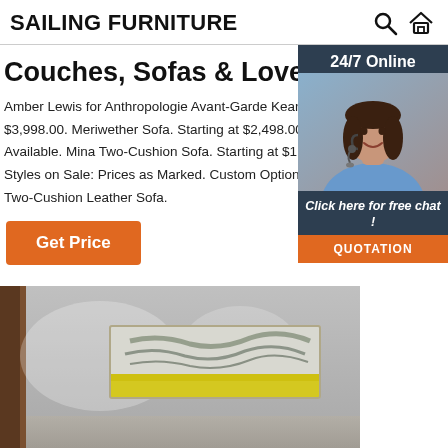SAILING FURNITURE
Couches, Sofas & Loveseats
Amber Lewis for Anthropologie Avant-Garde Keane S... $3,998.00. Meriwether Sofa. Starting at $2,498.00. Cu Available. Mina Two-Cushion Sofa. Starting at $1,998. Styles on Sale: Prices as Marked. Custom Options Ava Two-Cushion Leather Sofa.
Get Price
[Figure (photo): 24/7 Online chat widget with a woman wearing a headset, dark blue background, 'Click here for free chat!' text and orange QUOTATION button]
[Figure (photo): Room interior photo showing a framed abstract wall art piece in yellow and grey tones, mounted on a light grey wall, with dark wood frame visible on left]